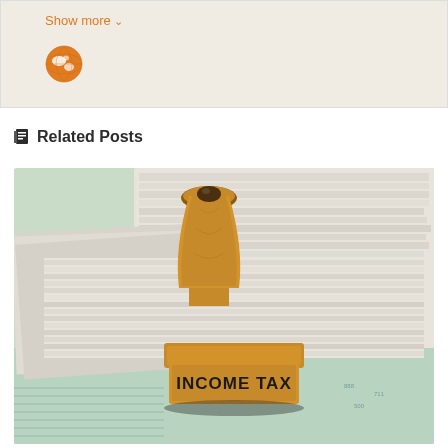Show more ∨
[Figure (illustration): Orange globe/world icon]
Related Posts
[Figure (photo): Photo of a wooden rubber stamp with 'INCOME TAX' text sitting in front of a stack of papers/documents on a tax form background]